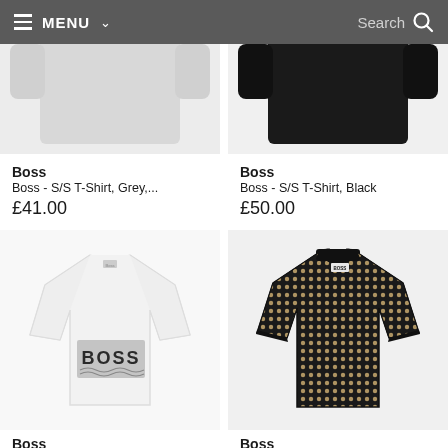MENU  Search
[Figure (photo): Boss grey t-shirt product image (partially visible, cropped at top)]
[Figure (photo): Boss black t-shirt product image (partially visible, cropped at top)]
Boss
Boss - S/S T-Shirt, Grey,...
£41.00
Boss
Boss - S/S T-Shirt, Black
£50.00
[Figure (photo): Boss white t-shirt with BOSS graphic logo print]
[Figure (photo): Boss black patterned polo shirt with geometric dot/grid print and black collar]
Boss
Boss